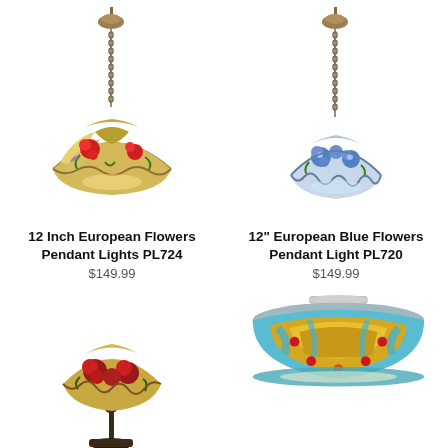[Figure (photo): Tiffany-style stained glass pendant light with red and multicolor floral pattern on a chain, product PL724]
12 Inch European Flowers Pendant Lights PL724
$149.99
[Figure (photo): Tiffany-style stained glass pendant light with blue flowers pattern on a chain, product PL720]
12" European Blue Flowers Pendant Light PL720
$149.99
[Figure (photo): Tiffany-style floor lamp with red rose stained glass shade on dark bronze base]
[Figure (photo): Tiffany-style flush mount ceiling light with turquoise, amber and red stained glass geometric pattern]